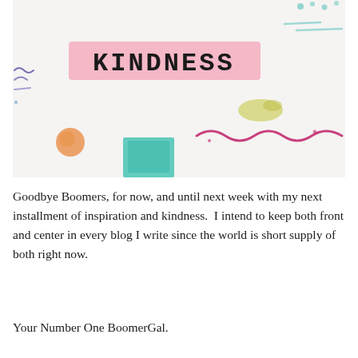[Figure (photo): A white paper or canvas with colorful paint/crayon marks: a pink watercolor brushstroke banner with the word KINDNESS written in black hand-lettered text, teal/blue squiggly lines and marks on the left side, teal rectangular paint block in the lower center, an orange circular spot on the lower left, a yellow-green smudge on the right, a dark pink/magenta wavy line on the lower right, and some teal dots in the upper right corner.]
Goodbye Boomers, for now, and until next week with my next installment of inspiration and kindness.  I intend to keep both front and center in every blog I write since the world is short supply of both right now.
Your Number One BoomerGal.